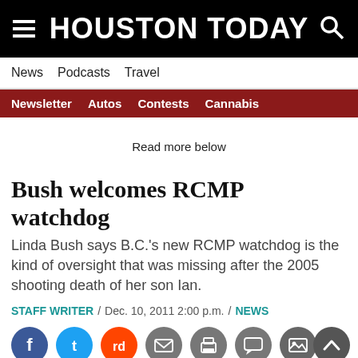HOUSTON TODAY
News  Podcasts  Travel
Newsletter  Autos  Contests  Cannabis
Read more below
Bush welcomes RCMP watchdog
Linda Bush says B.C.'s new RCMP watchdog is the kind of oversight that was missing after the 2005 shooting death of her son Ian.
STAFF WRITER / Dec. 10, 2011 2:00 p.m. / NEWS